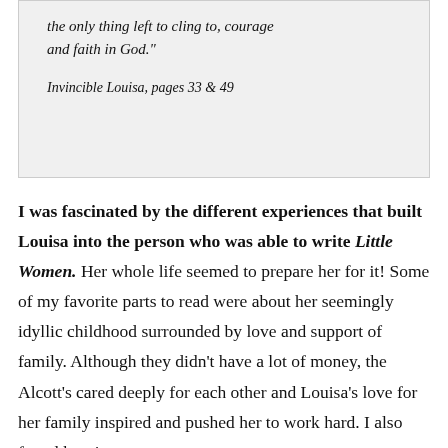the only thing left to cling to, courage and faith in God."

Invincible Louisa, pages 33 & 49
I was fascinated by the different experiences that built Louisa into the person who was able to write Little Women. Her whole life seemed to prepare her for it! Some of my favorite parts to read were about her seemingly idyllic childhood surrounded by love and support of family. Although they didn't have a lot of money, the Alcott's cared deeply for each other and Louisa's love for her family inspired and pushed her to work hard. I also found her time as a